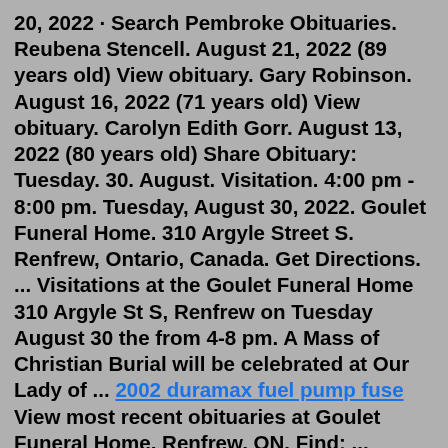20, 2022 · Search Pembroke Obituaries. Reubena Stencell. August 21, 2022 (89 years old) View obituary. Gary Robinson. August 16, 2022 (71 years old) View obituary. Carolyn Edith Gorr. August 13, 2022 (80 years old) Share Obituary: Tuesday. 30. August. Visitation. 4:00 pm - 8:00 pm. Tuesday, August 30, 2022. Goulet Funeral Home. 310 Argyle Street S. Renfrew, Ontario, Canada. Get Directions. ... Visitations at the Goulet Funeral Home 310 Argyle St S, Renfrew on Tuesday August 30 the from 4-8 pm. A Mass of Christian Burial will be celebrated at Our Lady of ... 2002 duramax fuel pump fuse View most recent obituaries at Goulet Funeral Home, Renfrew, ON. Find: ... Goulet Funeral Home Leave Reviewsubdirectory_arrow_left. 0.0 store Funeral Homes. Goulet Funeral Home. The funeral service is an important point of closure for those who have suffered a recent loss, often marking just the beginning of collective mourning. It is a time to share memories, receive condolences and say goodbye. For public access to find someone, the term side...